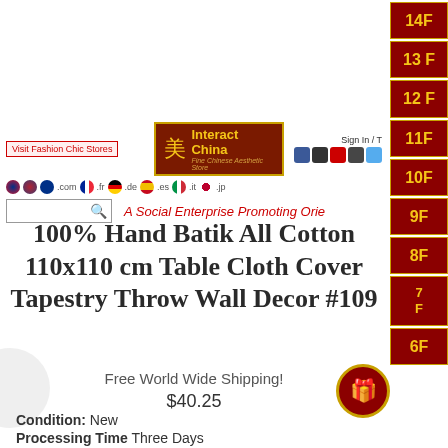Interact China — Fine Chinese Aesthetic Store — A Social Enterprise Promoting Orie
100% Hand Batik All Cotton 110x110 cm Table Cloth Cover Tapestry Throw Wall Decor #109
Free World Wide Shipping!
$40.25
Condition: New
Processing Time Three Days